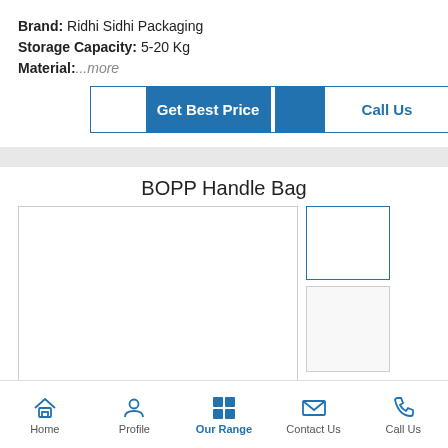Brand: Ridhi Sidhi Packaging
Storage Capacity: 5-20 Kg
Material: ...more
[Figure (screenshot): Get Best Price and Call Us buttons]
BOPP Handle Bag
[Figure (photo): Product image area with main image box and two thumbnail boxes]
Home  Profile  Our Range  Contact Us  Call Us